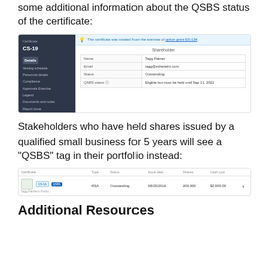some additional information about the QSBS status of the certificate:
[Figure (screenshot): Screenshot of a certificate detail page (CS-19) showing shareholder info: Name: Tagg Palmer, Email: tagg@sshareinc.com, Status: Outstanding, QSBS status: Eligible but must be held until Sep 11, 2022. A blue info banner states the certificate was created from the exercise of option grant ES-134. Left sidebar shows navigation: Details, Vesting schedule, Personnel details, Compliance, Approvals Exercise, Legend, Documents and notes, Report issue.]
Stakeholders who have held shares issued by a qualified small business for 5 years will see a "QSBS" tag in their portfolio instead:
[Figure (screenshot): Screenshot of a portfolio table showing certificate CS-16 with QSBS tag, Type: RSA, Status: Outstanding, Issue date: 08/25/2016, Shares: 200,000, Cash cost: $2,000.00]
Additional Resources